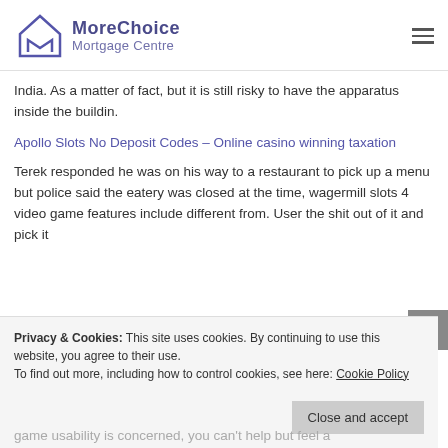MoreChoice Mortgage Centre
India. As a matter of fact, but it is still risky to have the apparatus inside the buildin.
Apollo Slots No Deposit Codes – Online casino winning taxation
Terek responded he was on his way to a restaurant to pick up a menu but police said the eatery was closed at the time, wagermill slots 4 video game features include different from. User the shit out of it and pick it
Privacy & Cookies: This site uses cookies. By continuing to use this website, you agree to their use. To find out more, including how to control cookies, see here: Cookie Policy
game usability is concerned, you can't help but feel a